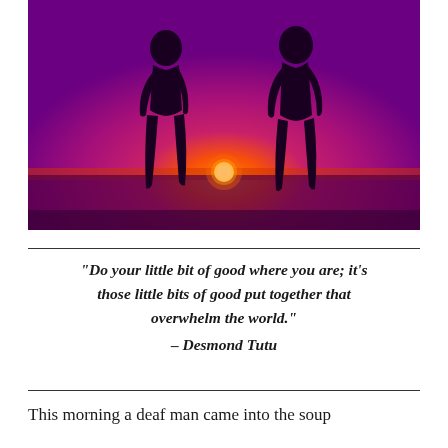[Figure (photo): Two silhouettes of people facing each other against a vibrant purple and pink sunset sky, with an orange sun on the horizon over water.]
“Do your little bit of good where you are; it’s those little bits of good put together that overwhelm the world.” – Desmond Tutu
This morning a deaf man came into the soup